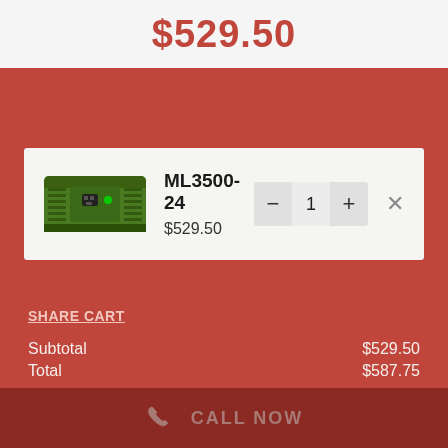$529.50
SHOPPING CART
[Figure (photo): Green power inverter product image (ML3500-24)]
ML3500-24
$529.50
SHARE CART
| Subtotal | $529.50 |
| Total | $587.75 |
CART
CHECKOUT
CONTINUE SHOPPING
CALL NOW